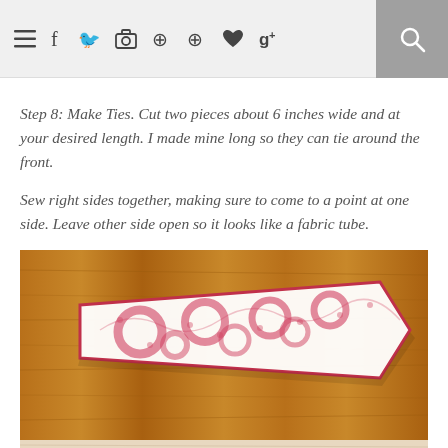Navigation bar with menu, social icons, and search
Step 8: Make Ties. Cut two pieces about 6 inches wide and at your desired length. I made mine long so they can tie around the front.
Sew right sides together, making sure to come to a point at one side. Leave other side open so it looks like a fabric tube.
[Figure (photo): A pointed fabric tie piece with pink/red floral print on white fabric, laid on a wooden surface. The fabric is sewn to a point at one end and open at the other, resembling a fabric tube.]